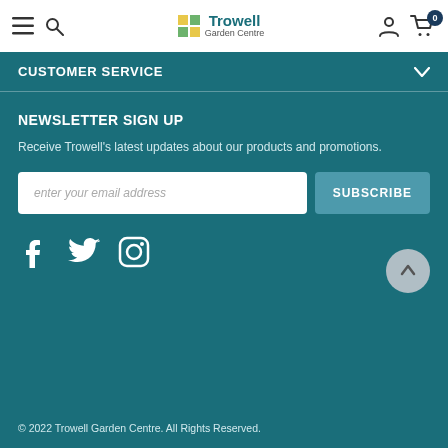Trowell Garden Centre
CUSTOMER SERVICE
NEWSLETTER SIGN UP
Receive Trowell's latest updates about our products and promotions.
enter your email address
SUBSCRIBE
[Figure (other): Social media icons: Facebook, Twitter, Instagram]
© 2022 Trowell Garden Centre. All Rights Reserved.